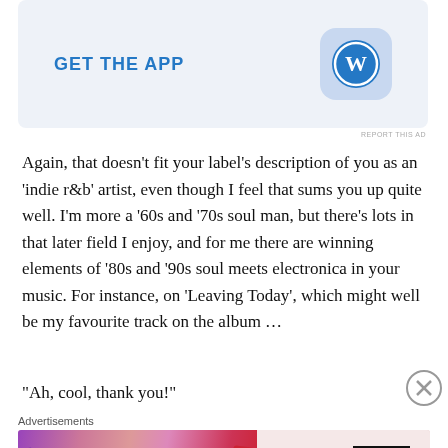[Figure (screenshot): WordPress 'Get the App' advertisement banner with blue WordPress logo icon on light blue background]
REPORT THIS AD
Again, that doesn't fit your label's description of you as an 'indie r&b' artist, even though I feel that sums you up quite well. I'm more a '60s and '70s soul man, but there's lots in that later field I enjoy, and for me there are winning elements of '80s and '90s soul meets electronica in your music. For instance, on 'Leaving Today', which might well be my favourite track on the album …
“Ah, cool, thank you!”
[Figure (screenshot): MAC cosmetics advertisement showing lipsticks with 'SHOP NOW' button]